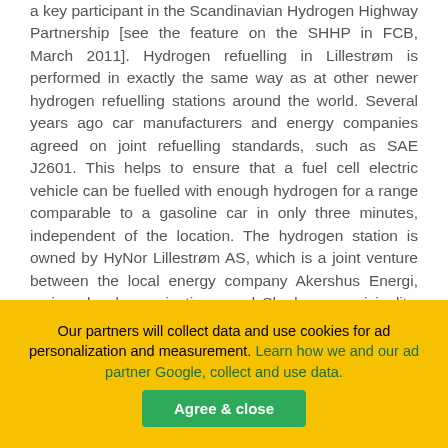a key participant in the Scandinavian Hydrogen Highway Partnership [see the feature on the SHHP in FCB, March 2011]. Hydrogen refuelling in Lillestrøm is performed in exactly the same way as at other newer hydrogen refuelling stations around the world. Several years ago car manufacturers and energy companies agreed on joint refuelling standards, such as SAE J2601. This helps to ensure that a fuel cell electric vehicle can be fuelled with enough hydrogen for a range comparable to a gasoline car in only three minutes, independent of the location. The hydrogen station is owned by HyNor Lillestrøm AS, which is a joint venture between the local energy company Akershus Energi, various local organisations, and Skedsmo municipality. The station is part of a larger development effort on hydrogen technologies in the Lillestrøm area, where various hydrogen production and compression technologies are to be tested, as well as hydrogen production from domestic waste. In addition to continuous development of the H2Station technology, efforts are also under way to secure a steadily increasing supply of additional stations to the growing infrastructure markets. H2 Logic expects to deliver the next hydrogen station for Scandinavian market 2013...
Our partners will collect data and use cookies for ad personalization and measurement. Learn how we and our ad partner Google, collect and use data.
Agree & close